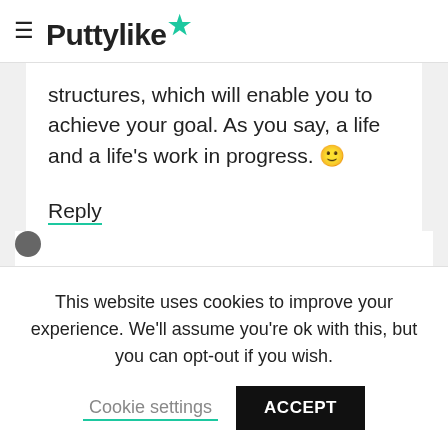Puttylike
structures, which will enable you to achieve your goal. As you say, a life and a life's work in progress. 🙂
Reply
This website uses cookies to improve your experience. We'll assume you're ok with this, but you can opt-out if you wish.
Cookie settings  ACCEPT